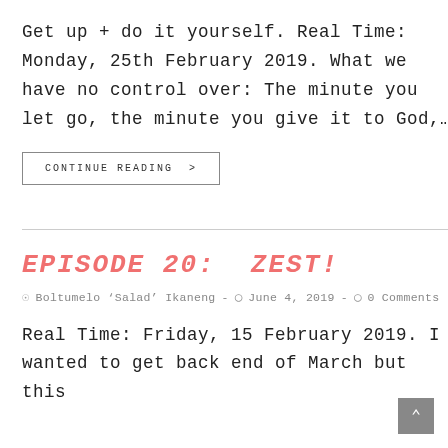Get up + do it yourself. Real Time: Monday, 25th February 2019. What we have no control over: The minute you let go, the minute you give it to God,…
CONTINUE READING >
EPISODE 20: ZEST!
Boltumelo 'Salad' Ikaneng · June 4, 2019 · 0 Comments
Real Time: Friday, 15 February 2019. I wanted to get back end of March but this